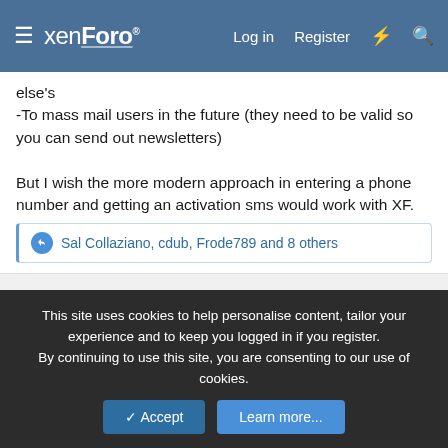xenForo | Log in | Register
else's
-To mass mail users in the future (they need to be valid so you can send out newsletters)

But I wish the more modern approach in entering a phone number and getting an activation sms would work with XF.
Sal Collaziano, cdub, Frode789 and 8 others
3
MQK8
Active member
This site uses cookies to help personalise content, tailor your experience and to keep you logged in if you register.
By continuing to use this site, you are consenting to our use of cookies.